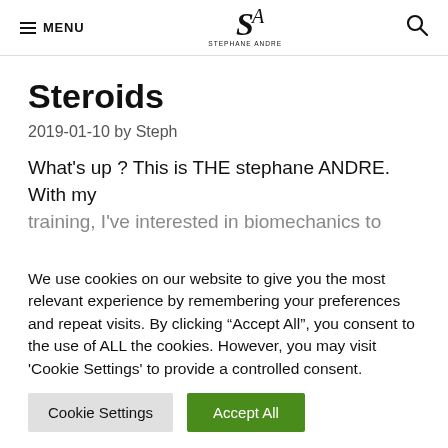MENU | STEPHANE ANDRE | [search icon]
Steroids
2019-01-10 by Steph
What's up ? This is THE stephane ANDRE. With my training, I've interested in biomechanics to avoid
We use cookies on our website to give you the most relevant experience by remembering your preferences and repeat visits. By clicking "Accept All", you consent to the use of ALL the cookies. However, you may visit 'Cookie Settings' to provide a controlled consent.